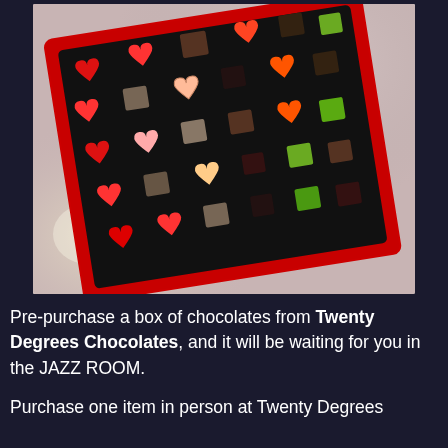[Figure (photo): A box of assorted chocolates in a red-bordered box, viewed from above at an angle. The chocolates include red and pink heart-shaped pieces, orange hearts, dark squares, green squares, and light-colored chocolates arranged in a grid.]
Pre-purchase a box of chocolates from Twenty Degrees Chocolates, and it will be waiting for you in the JAZZ ROOM.
Purchase one item in person at Twenty Degrees